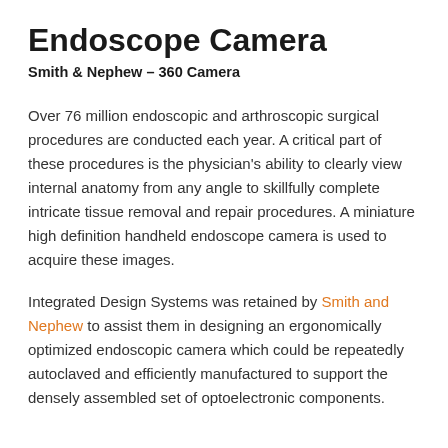Endoscope Camera
Smith & Nephew – 360 Camera
Over 76 million endoscopic and arthroscopic surgical procedures are conducted each year. A critical part of these procedures is the physician's ability to clearly view internal anatomy from any angle to skillfully complete intricate tissue removal and repair procedures. A miniature high definition handheld endoscope camera is used to acquire these images.
Integrated Design Systems was retained by Smith and Nephew to assist them in designing an ergonomically optimized endoscopic camera which could be repeatedly autoclaved and efficiently manufactured to support the densely assembled set of optoelectronic components.